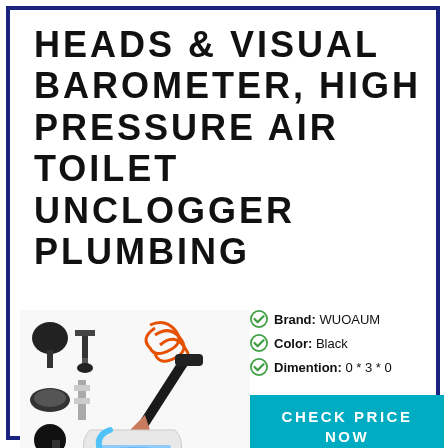HEADS & VISUAL BAROMETER, HIGH PRESSURE AIR TOILET UNCLOGGER PLUMBING
[Figure (photo): Product image of a toilet unclogger set with multiple plunger heads, accessories, and a diagram showing the device being used in a toilet]
Brand: WUOAUM
Color: Black
Dimention: 0 * 3 * 0
CHECK PRICE NOW